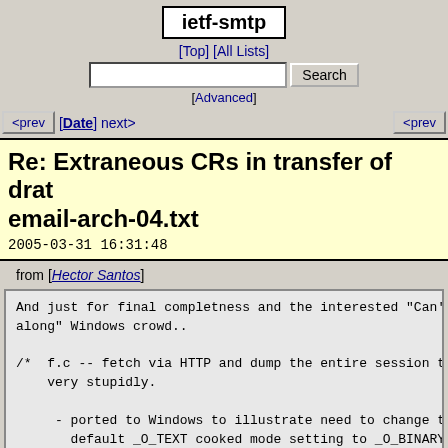ietf-smtp
[Top] [All Lists]
Search | [Advanced]
<prev [Date] next> <prev
Re: Extraneous CRs in transfer of draft-crocker-email-arch-04.txt
2005-03-31 16:31:48
from [Hector Santos]
And just for final completness and the interested "Can't
along" Windows crowd..

/*  f.c -- fetch via HTTP and dump the entire session t
    very stupidly.

     - ported to Windows to illustrate need to change th
       default _O_TEXT cooked mode setting to _O_BINARY

*/

#ifdef _WIN32
#include <windows.h>
#include <stdio.h>